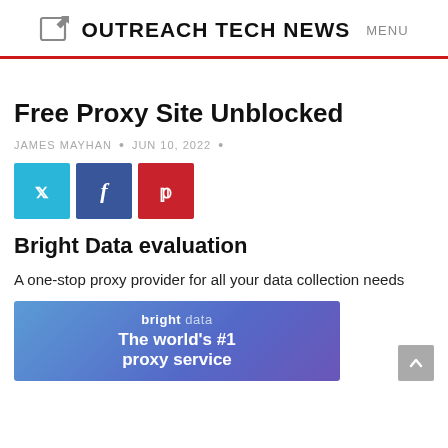OUTREACH TECH NEWS  MENU
Free Proxy Site Unblocked
JAMES MAYHAN  •  JUN 10, 2022  •
[Figure (infographic): Social share buttons: Twitter (blue), Facebook (dark blue), Pinterest (red)]
Bright Data evaluation
A one-stop proxy provider for all your data collection needs
[Figure (screenshot): Bright Data banner with text 'bright data - The world's #1 proxy service' on a blue/purple gradient background]